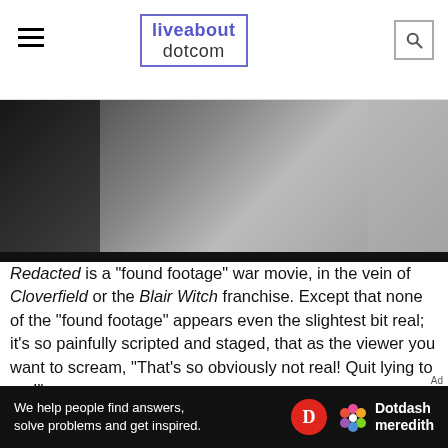liveabout dotcom
[Figure (photo): Dark scene from a war movie showing a person in a white t-shirt, with dark background on the left and grayish tones on the right.]
Redacted is a "found footage" war movie, in the vein of Cloverfield or the Blair Witch franchise. Except that none of the "found footage" appears even the slightest bit real; it's so painfully scripted and staged, that as the viewer you want to scream, "That's so obviously not real! Quit lying to me!"
The dialogue is stilted and forced, the interactions between soldiers – far from being organic and natural – is instead awkward and clumsy (as if they
[Figure (other): Ad bar: We help people find answers, solve problems and get inspired. Dotdash Meredith logo.]